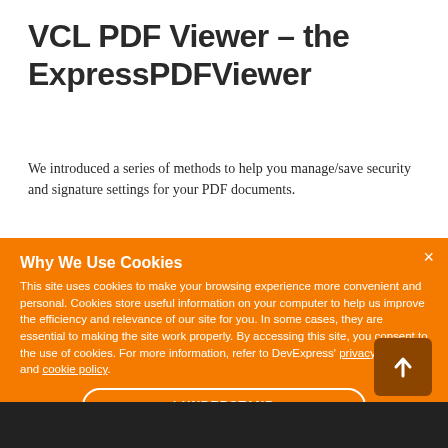VCL PDF Viewer – the ExpressPDFViewer
We introduced a series of methods to help you manage/save security and signature settings for your PDF documents.
Why We Use Cookies
This site uses cookies to make your browsing experience more convenient and personal. Cookies store useful information on your computer to help us improve the efficiency and relevance of our site for you. In some cases, they are essential to making the site work properly. By accessing this site, you consent to the use of cookies. For more information, refer to DevExpress' privacy policy and cookie policy.
I UNDERSTAND